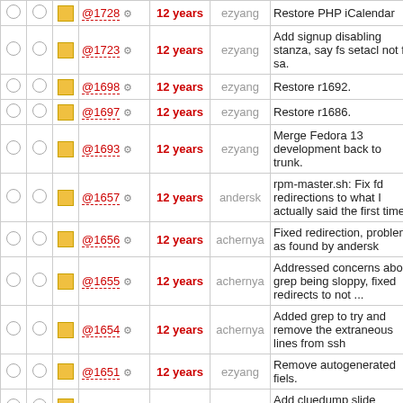|  |  |  | Rev | Age | Author | Log Message |
| --- | --- | --- | --- | --- | --- | --- |
| ○ | ○ | ■ | @1728 ⚙ | 12 years | ezyang | Restore PHP iCalendar |
| ○ | ○ | ■ | @1723 ⚙ | 12 years | ezyang | Add signup disabling stanza, say fs setacl not fs sa. |
| ○ | ○ | ■ | @1698 ⚙ | 12 years | ezyang | Restore r1692. |
| ○ | ○ | ■ | @1697 ⚙ | 12 years | ezyang | Restore r1686. |
| ○ | ○ | ■ | @1693 ⚙ | 12 years | ezyang | Merge Fedora 13 development back to trunk. |
| ○ | ○ | ■ | @1657 ⚙ | 12 years | andersk | rpm-master.sh: Fix fd redirections to what I actually said the first time |
| ○ | ○ | ■ | @1656 ⚙ | 12 years | achernya | Fixed redirection, problem as found by andersk |
| ○ | ○ | ■ | @1655 ⚙ | 12 years | achernya | Addressed concerns about grep being sloppy, fixed redirects to not ... |
| ○ | ○ | ■ | @1654 ⚙ | 12 years | achernya | Added grep to try and remove the extraneous lines from ssh |
| ○ | ○ | ■ | @1651 ⚙ | 12 years | ezyang | Remove autogenerated fiels. |
| ○ | ○ | ■ | @1648 ⚙ | 12 years | ezyang | Add cluedump slide sources to Subversion. |
| ○ | ○ | ■ | @1643 ⚙ | 12 years | achernya | Updated grep to handle the newlines in missing.rpms file generated, ... |
| ○ | ○ | ■ | @1642 ⚙ | 12 years | achernya | Fixed path in rpm-master.sh to rpmlist.sh |
| ○ | ○ | ■ | @1641 ⚙ | 12 years | achernya | Changed rack-forward to scripts-director as suggested by |